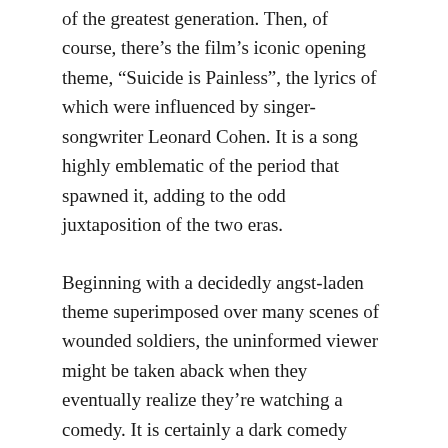of the greatest generation. Then, of course, there’s the film’s iconic opening theme, “Suicide is Painless”, the lyrics of which were influenced by singer-songwriter Leonard Cohen. It is a song highly emblematic of the period that spawned it, adding to the odd juxtaposition of the two eras.
Beginning with a decidedly angst-laden theme superimposed over many scenes of wounded soldiers, the uninformed viewer might be taken aback when they eventually realize they’re watching a comedy. It is certainly a dark comedy given the subject matter and setting, but it uses its gritty undertones to add to the absurdity rather than detract from it. Hawkeye and Duke prove to be quite the mischievous pair with their womanizing displays and constant insubordination.